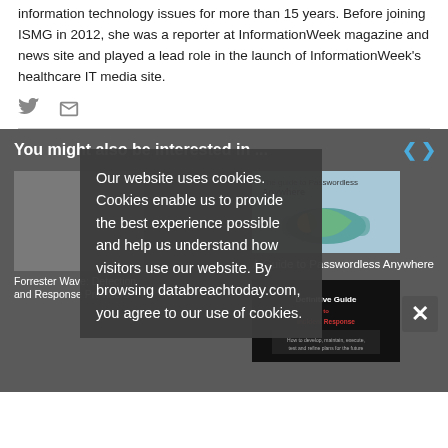information technology issues for more than 15 years. Before joining ISMG in 2012, she was a reporter at InformationWeek magazine and news site and played a lead role in the launch of InformationWeek's healthcare IT media site.
[Figure (infographic): Social media icons: Twitter bird icon and mail envelope icon in gray]
You might also be interested in ...
[Figure (infographic): Cookie consent overlay popup with text about cookies on databreaachtoday.com, alongside 'You might also be interested in...' section with article cards including 'A Guide to Passwordless Anywhere' and a Definitive Guide book cover, with close X button]
Our website uses cookies. Cookies enable us to provide the best experience possible and help us understand how visitors use our website. By browsing databreachtoday.com, you agree to our use of cookies.
A Guide to Passwordless Anywhere
Forrester Wave: Detection and Response Providers